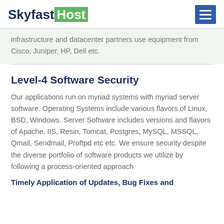SkyfastHost
infrastructure and datacenter partners use equipment from Cisco, Juniper, HP, Dell etc.
Level-4 Software Security
Our applications run on myriad systems with myriad server software. Operating Systems include various flavors of Linux, BSD, Windows. Server Software includes versions and flavors of Apache, IIS, Resin, Tomcat, Postgres, MySQL, MSSQL, Qmail, Sendmail, Proftpd etc etc. We ensure security despite the diverse portfolio of software products we utilize by following a process-oriented approach
Timely Application of Updates, Bug Fixes and